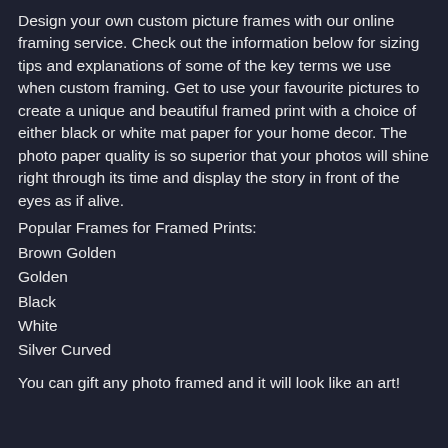Design your own custom picture frames with our online framing service. Check out the information below for sizing tips and explanations of some of the key terms we use when custom framing. Get to use your favourite pictures to create a unique and beautiful framed print with a choice of either black or white mat paper for your home decor. The photo paper quality is so superior that your photos will shine right through its time and display the story in front of the eyes as if alive.
Popular Frames for Framed Prints:
Brown Golden
Golden
Black
White
Silver Curved
You can gift any photo framed and it will look like an art!